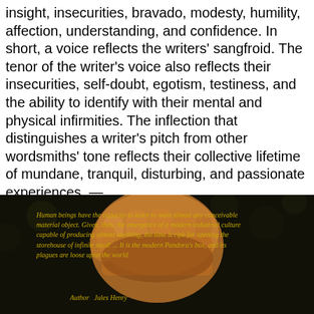insight, insecurities, bravado, modesty, humility, affection, understanding, and confidence. In short, a voice reflects the writers' sangfroid. The tenor of the writer's voice also reflects their insecurities, self-doubt, egotism, testiness, and the ability to identify with their mental and physical infirmities. The inflection that distinguishes a writer's pitch from other wordsmiths' tone reflects their collective lifetime of mundane, tranquil, disturbing, and passionate experiences. — Kilroy J. Oldster
[Figure (photo): Dark background photo with a raised fist silhouette and a yellow italic quote: 'Human beings have the capacity to learn to want almost any conceivable material object. Given, then, the emergence of a modern industrial culture capable of producing almost anything, the time is ripe for opening the storehouse of infinite need! ... It is the modern Pandora's box, and its plagues are loose upon the world.' Attributed to Author Jules Henry.]